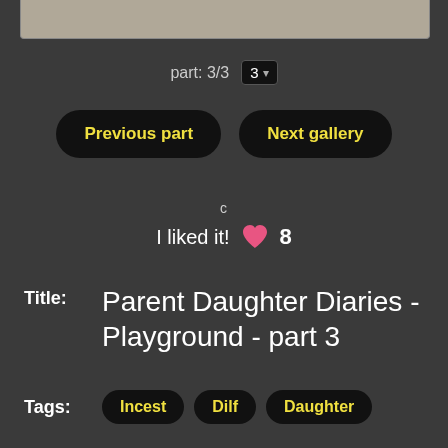[Figure (other): Partial image visible at the top of the page, cropped at the bottom edge]
part: 3/3  3 ▾
Previous part
Next gallery
c
I liked it!  ♥  8
Title:  Parent Daughter Diaries - Playground - part 3
Tags:  Incest  Dilf  Daughter